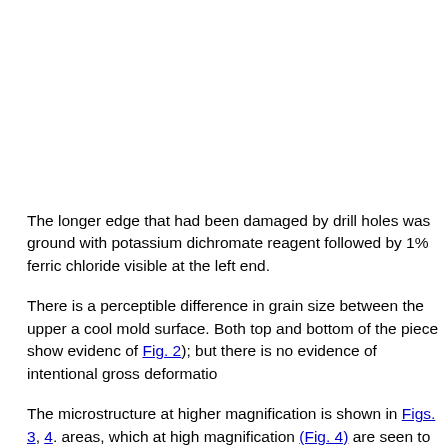The longer edge that had been damaged by drill holes was ground with potassium dichromate reagent followed by 1% ferric chloride visible at the left end.
There is a perceptible difference in grain size between the upper a cool mold surface. Both top and bottom of the piece show evidenc of Fig. 2); but there is no evidence of intentional gross deformatio
The microstructure at higher magnification is shown in Figs. 3, 4. areas, which at high magnification (Fig. 4) are seen to be the typic